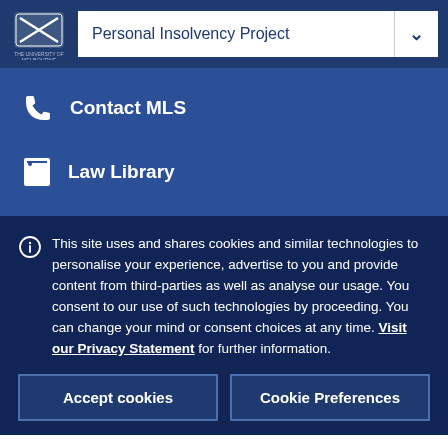Personal Insolvency Project
Contact MLS
Law Library
This site uses and shares cookies and similar technologies to personalise your experience, advertise to you and provide content from third-parties as well as analyse our usage. You consent to our use of such technologies by proceeding. You can change your mind or consent choices at any time. Visit our Privacy Statement for further information.
Accept cookies
Cookie Preferences